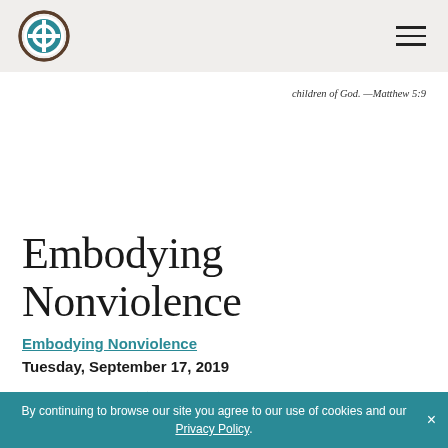[Logo] [Hamburger menu]
children of God. —Matthew 5:9
Embodying Nonviolence
Embodying Nonviolence
Tuesday, September 17, 2019
Mohandas Gandhi (1869–1948) used to say that every world religion knows that Jesus taught
By continuing to browse our site you agree to our use of cookies and our Privacy Policy. ×